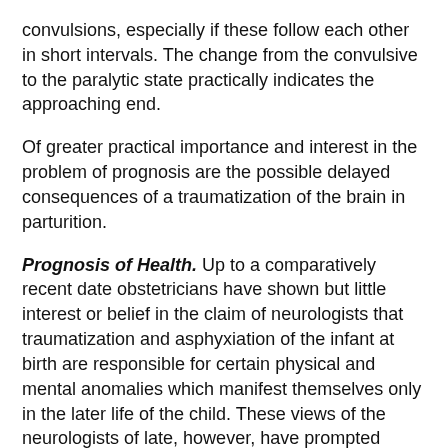convulsions, especially if these follow each other in short intervals. The change from the convulsive to the paralytic state practically indicates the approaching end.
Of greater practical importance and interest in the problem of prognosis are the possible delayed consequences of a traumatization of the brain in parturition.
Prognosis of Health. Up to a comparatively recent date obstetricians have shown but little interest or belief in the claim of neurologists that traumatization and asphyxiation of the infant at birth are responsible for certain physical and mental anomalies which manifest themselves only in the later life of the child. These views of the neurologists of late, however, have prompted obstetricians to advocate operative termination of labors for the purpose of avoiding such untoward sequelae. There cannot be any doubt that in the light of more recent information concerning the causation of intracranial parturitional lesions the